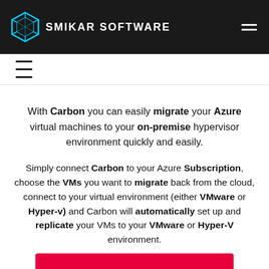SMIKAR SOFTWARE
With Carbon you can easily migrate your Azure virtual machines to your on-premise hypervisor environment quickly and easily.
Simply connect Carbon to your Azure Subscription, choose the VMs you want to migrate back from the cloud, connect to your virtual environment (either VMware or Hyper-v) and Carbon will automatically set up and replicate your VMs to your VMware or Hyper-V environment.